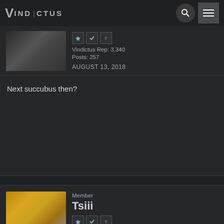VINDICTUS
[Figure (photo): User avatar thumbnail - blurred dark image]
Vindictus Rep: 3,340
Posts: 257
AUGUST 13, 2018
Next succubus then?
Member
Tsiii
[Figure (photo): User avatar - cartoon cat character]
Vindictus Rep: 2,175
Posts: 112